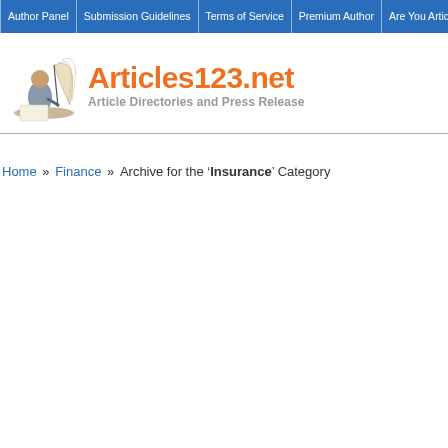Author Panel | Submission Guidelines | Terms of Service | Premium Author | Are You Article Spamming
[Figure (logo): Articles123.net logo with quill pen illustration, orange bold text 'Articles123.net' and gray subtitle 'Article Directories and Press Release']
Home » Finance » Archive for the 'Insurance' Category